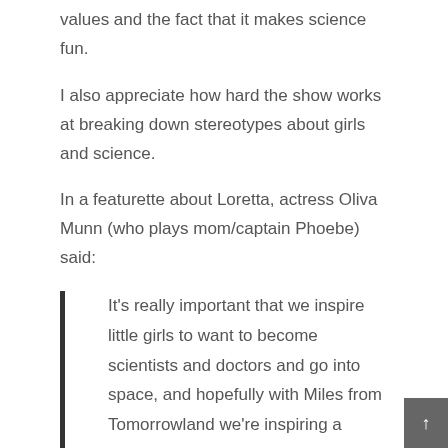values and the fact that it makes science fun.
I also appreciate how hard the show works at breaking down stereotypes about girls and science.
In a featurette about Loretta, actress Oliva Munn (who plays mom/captain Phoebe) said:
It's really important that we inspire little girls to want to become scientists and doctors and go into space, and hopefully with Miles from Tomorrowland we're inspiring a whole group of young girls to get involved with it and show them